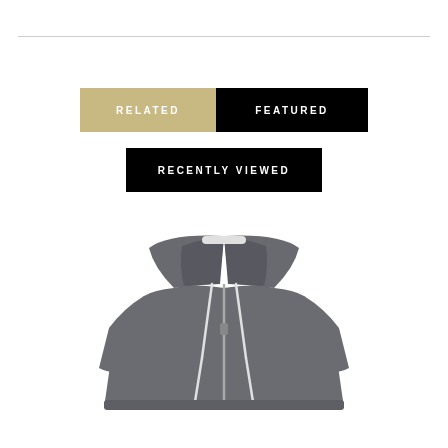[Figure (illustration): Horizontal divider line near the top of the page]
RELATED
FEATURED
RECENTLY VIEWED
[Figure (photo): A grey zip-up hoodie sweatshirt with white drawstrings and a metal zipper, displayed on a white background]